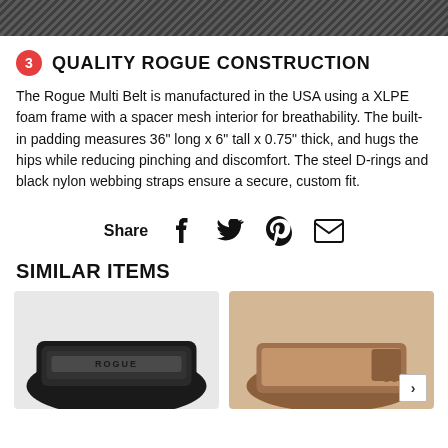[Figure (photo): Top portion of a black mesh/textured product photo, cropped at top of page]
3 QUALITY ROGUE CONSTRUCTION
The Rogue Multi Belt is manufactured in the USA using a XLPE foam frame with a spacer mesh interior for breathability. The built-in padding measures 36" long x 6" tall x 0.75" thick, and hugs the hips while reducing pinching and discomfort. The steel D-rings and black nylon webbing straps ensure a secure, custom fit.
Share
[Figure (other): Social sharing icons: Facebook, Twitter, Pinterest, Email]
SIMILAR ITEMS
[Figure (photo): Black lifting belt product card]
[Figure (photo): Brown leather lifting belt product card]